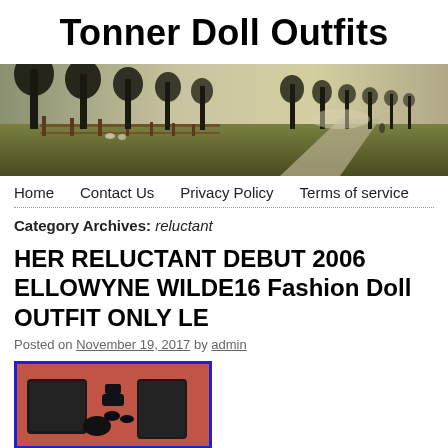Tonner Doll Outfits
[Figure (photo): Header photo of a tree-lined avenue with a person walking on a path, soft morning light, wooden fence on the left side]
Home   Contact Us   Privacy Policy   Terms of service
Category Archives: reluctant
HER RELUCTANT DEBUT 2006 ELLOWYNE WILDE16 Fashion Doll OUTFIT ONLY LE
Posted on November 19, 2017 by admin
[Figure (photo): Product photo showing dark fashion doll outfit accessories including coat, shoes, and accessories laid out on a pink/red background]